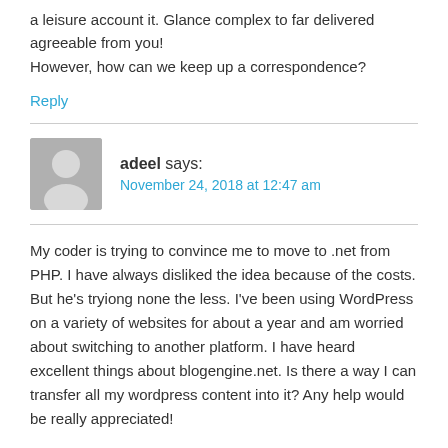a leisure account it. Glance complex to far delivered agreeable from you!
However, how can we keep up a correspondence?
Reply
adeel says:
November 24, 2018 at 12:47 am
My coder is trying to convince me to move to .net from PHP. I have always disliked the idea because of the costs. But he's tryiong none the less. I've been using WordPress on a variety of websites for about a year and am worried about switching to another platform. I have heard excellent things about blogengine.net. Is there a way I can transfer all my wordpress content into it? Any help would be really appreciated!